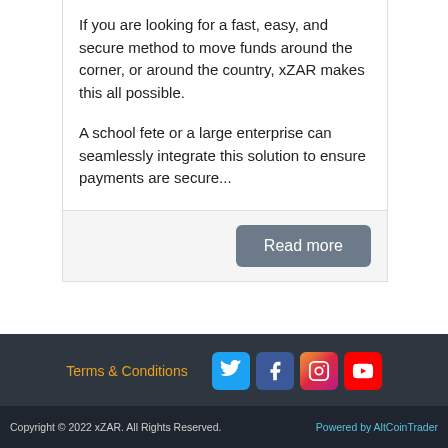If you are looking for a fast, easy, and secure method to move funds around the corner, or around the country, xZAR makes this all possible.
A school fete or a large enterprise can seamlessly integrate this solution to ensure payments are secure...
Read more
Terms & Conditions   [Twitter] [Facebook] [Instagram] [YouTube]
Copyright © 2022 xZAR. All Rights Reserved.   Powered by AltCoinTrader